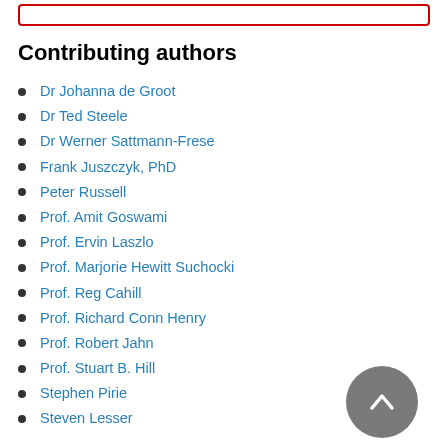Contributing authors
Dr Johanna de Groot
Dr Ted Steele
Dr Werner Sattmann-Frese
Frank Juszczyk, PhD
Peter Russell
Prof. Amit Goswami
Prof. Ervin Laszlo
Prof. Marjorie Hewitt Suchocki
Prof. Reg Cahill
Prof. Richard Conn Henry
Prof. Robert Jahn
Prof. Stuart B. Hill
Stephen Pirie
Steven Lesser